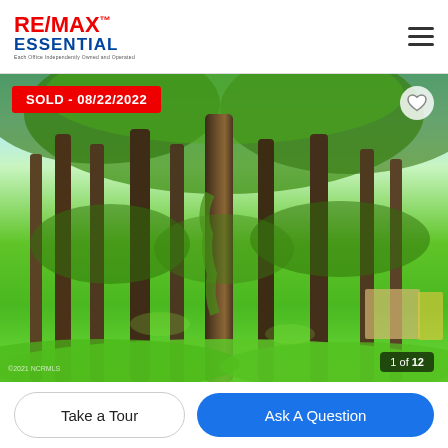[Figure (logo): RE/MAX Essential real estate logo with red RE/MAX text and blue ESSENTIAL text]
[Figure (photo): Outdoor wooded property photo showing tall trees with lush green grass/ground cover, bright daylight, with a structure visible in the background on the right side. Sold badge overlay reads SOLD - 08/22/2022. Photo counter shows 1 of 12.]
SOLD - 08/22/2022
1 of 12
Take a Tour
Ask A Question